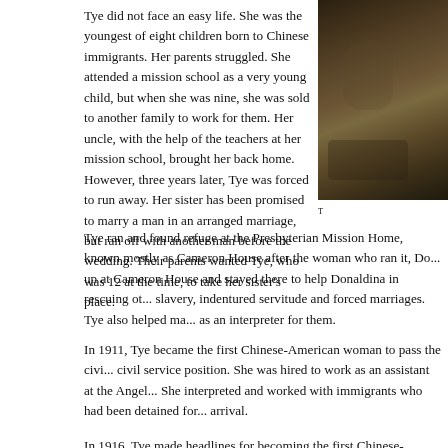Tye did not face an easy life. She was the youngest of eight children born to Chinese immigrants. Her parents struggled. She attended a mission school as a very young child, but when she was nine, she was sold to another family to work for them. Her uncle, with the help of the teachers at her mission school, brought her back home. However, three years later, Tye was forced to run away. Her sister has been promised to marry a man in an arranged marriage, but ran off with another man before the wedding. Their parents wanted Tye, who was 12 at the time, to take her sister's place.
[Figure (photo): Historical photograph, partially visible on the right side of the page, showing a dark-toned portrait image.]
T...
Tye ran and found refuge at the Presbyterian Mission Home, known mostly as Cameron House after the woman who ran it, Do... up at Cameron House and stayed there to help Donaldina in rescuing ot... slavery, indentured servitude and forced marriages. Tye also helped ma... as an interpreter for them.
In 1911, Tye became the first Chinese-American woman to pass the civi... civil service position. She was hired to work as an assistant at the Angel... She interpreted and worked with immigrants who had been detained for... arrival.
In 1916, Tye made headlines for becoming the first Chinese-American...